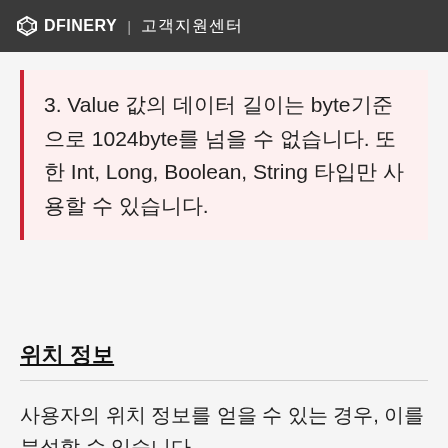DFINERY 고객지원센터
3. Value 값의 데이터 길이는 byte기준으로 1024byte를 넘을 수 없습니다. 또한 Int, Long, Boolean, String 타입만 사용할 수 있습니다.
위치 정보
사용자의 위치 정보를 얻을 수 있는 경우, 이를 분석할 수 있습니다.